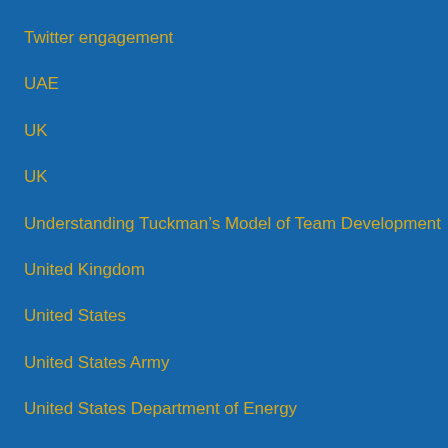Twitter engagement
UAE
UK
UK
Understanding Tuckman's Model of Team Development
United Kingdom
United States
United States Army
United States Department of Energy